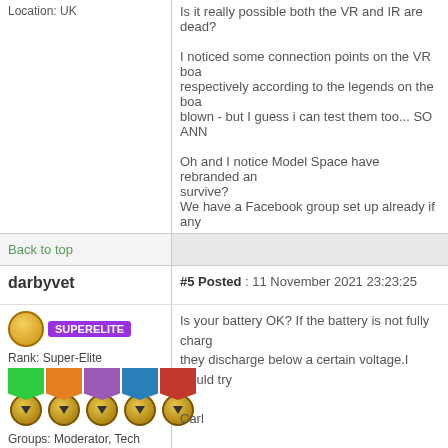Location: UK
Is it really possible both the VR and IR are dead?

I noticed some connection points on the VR board respectively according to the legends on the board blown - but I guess i can test them too... SO ANN

Oh and I notice Model Space have rebranded and survive?
We have a Facebook group set up already if any
Back to top
darbyvet
#5 Posted : 11 November 2021 23:23:25
[Figure (illustration): Super-Elite rank badge with golden icon and purple label, followed by 5 medals with colored ribbons (green, orange, purple, blue, red) and gold circular medallions with arrow symbols]
Rank: Super-Elite
Groups: Moderator, Tech Support, Technical Support, Registered, Forum Support Team, Forum Support USA, Global Forum Support, Global Forum Support Team
Joined: 17/12/2013
Posts: 3,955
Points: 11,890
Location: NY, USA
Is your battery OK? If the battery is not fully charged they discharge below a certain voltage. I would try

Carl